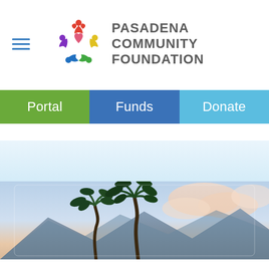[Figure (logo): Pasadena Community Foundation logo with colorful figures arranged in a circle around a heart, and text 'PASADENA COMMUNITY FOUNDATION']
Portal
Funds
Donate
[Figure (photo): Outdoor photo showing palm trees against a sunset sky with mountains in the background]